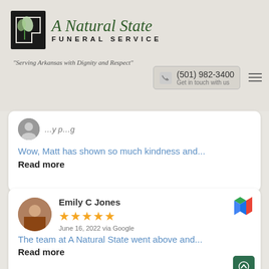[Figure (logo): A Natural State Funeral Service logo with Arkansas state silhouette icon and script/sans text]
"Serving Arkansas with Dignity and Respect"
(501) 982-3400
Get in touch with us
Wow, Matt has shown so much kindness and...
Read more
Emily C Jones
★★★★★
June 16, 2022 via Google
The team at A Natural State went above and...
Read more